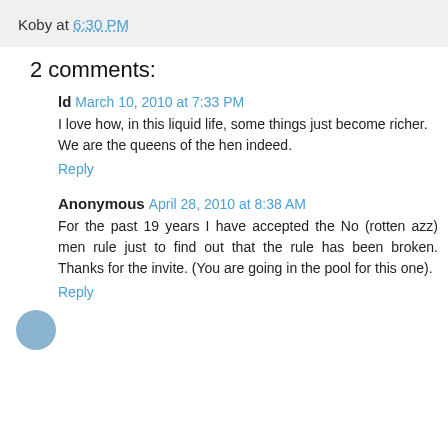Koby at 6:30 PM
2 comments:
ld  March 10, 2010 at 7:33 PM
I love how, in this liquid life, some things just become richer. We are the queens of the hen indeed.
Reply
Anonymous  April 28, 2010 at 8:38 AM
For the past 19 years I have accepted the No (rotten azz) men rule just to find out that the rule has been broken. Thanks for the invite. (You are going in the pool for this one).
Reply